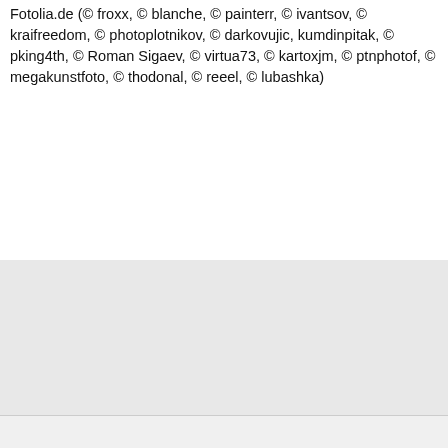Fotolia.de (© froxx, © blanche, © painterr, © ivantsov, © kraifreedom, © photoplotnikov, © darkovujic, kumdinpitak, © pking4th, © Roman Sigaev, © virtua73, © kartoxjm, © ptnphotof, © megakunstfoto, © thodonal, © reeel, © lubashka)
[Figure (logo): Research in Germany Land of Ideas Official Participant logo with colored dots and scroll-to-top button]
Zur Reichweitemessung setzen wir Cookies ein. Wenn Sie diese Website weiterhin besuchen, erklären Sie sich damit